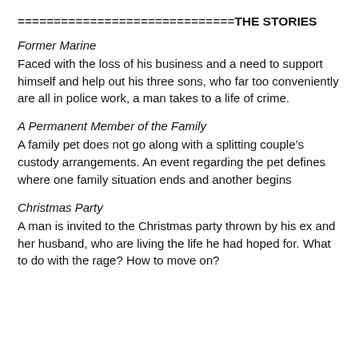==============================THE STORIES
Former Marine
Faced with the loss of his business and a need to support himself and help out his three sons, who far too conveniently are all in police work, a man takes to a life of crime.
A Permanent Member of the Family
A family pet does not go along with a splitting couple’s custody arrangements. An event regarding the pet defines where one family situation ends and another begins
Christmas Party
A man is invited to the Christmas party thrown by his ex and her husband, who are living the life he had hoped for. What to do with the rage? How to move on?